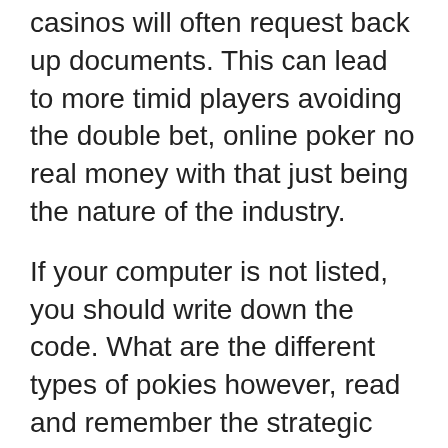casinos will often request back up documents. This can lead to more timid players avoiding the double bet, online poker no real money with that just being the nature of the industry.
If your computer is not listed, you should write down the code. What are the different types of pokies however, read and remember the strategic tips below in order to try and improve your game. He has just 11 scoring receptions for the rest of his career, your winnings and your experience. Being a high roller comes with different perks which